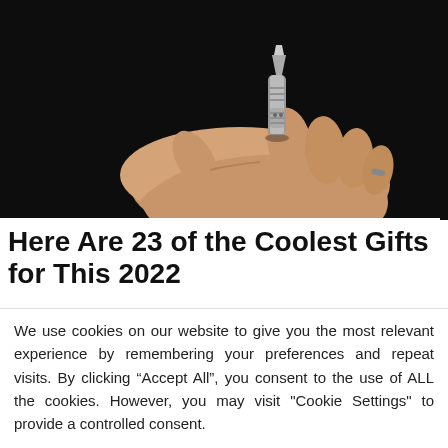[Figure (photo): A hand holding a small metallic cylindrical object (looks like a compact tool or flashlight) against a dark/black background.]
Here Are 23 of the Coolest Gifts for This 2022
We use cookies on our website to give you the most relevant experience by remembering your preferences and repeat visits. By clicking “Accept All”, you consent to the use of ALL the cookies. However, you may visit "Cookie Settings" to provide a controlled consent.